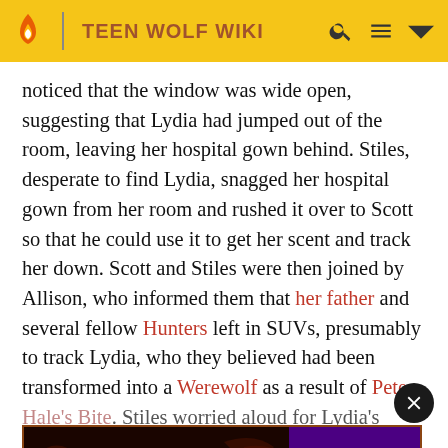TEEN WOLF WIKI
noticed that the window was wide open, suggesting that Lydia had jumped out of the room, leaving her hospital gown behind. Stiles, desperate to find Lydia, snagged her hospital gown from her room and rushed it over to Scott so that he could use it to get her scent and track her down. Scott and Stiles were then joined by Allison, who informed them that her father and several fellow Hunters left in SUVs, presumably to track Lydia, who they believed had been transformed into a Werewolf as a result of Pete
Hale's Bite. Stiles worried aloud for Lydia's safety, and Scott a... rt her again, b... the Hale Ho... They then tracked the scent trail to a nearby ambulance,
[Figure (screenshot): HBO Max advertisement for House of the Dragon with a close button (X) in the top right corner. The ad shows the title 'HOUSE OF THE DRAGON' in gold text on a dark fantasy background, and an HBO Max logo with 'SIGN UP NOW' button on a purple background.]